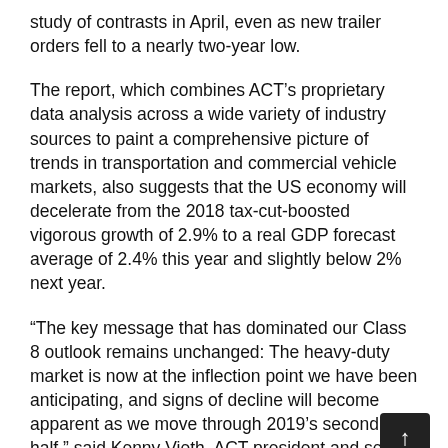study of contrasts in April, even as new trailer orders fell to a nearly two-year low.
The report, which combines ACT's proprietary data analysis across a wide variety of industry sources to paint a comprehensive picture of trends in transportation and commercial vehicle markets, also suggests that the US economy will decelerate from the 2018 tax-cut-boosted vigorous growth of 2.9% to a real GDP forecast average of 2.4% this year and slightly below 2% next year.
“The key message that has dominated our Class 8 outlook remains unchanged: The heavy-duty market is now at the inflection point we have been anticipating, and signs of decline will become apparent as we move through 2019’s second half,” said Kenny Vieth, ACT president and senior ana “Regarding other commercial vehicle segmen saw medium duty build and sales falter sequentially in April, though longer-term comparisons remained positive, with orders growing month-over-month, but